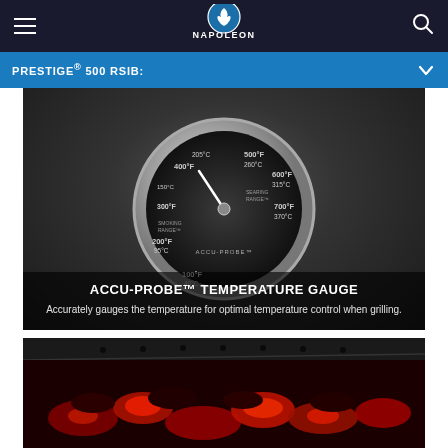Napoleon Grills - navigation bar
PRESTIGE® 500 RSIB:
[Figure (photo): Close-up of the ACCU-PROBE™ temperature gauge dial showing temperature markings in both Fahrenheit and Celsius (100F/40C, 200F/95C, 300F/150C, 400F/205C, 500F/260C, 600F/315C, 700F/370C) with a needle and stainless steel bezel.]
ACCU-PROBE™ TEMPERATURE GAUGE
Accurately gauges the temperature for optimal temperature control when grilling.
[Figure (photo): Close-up shot of glowing red hot coals/charcoal briquettes in a dark grill pan or basket with perforated holes visible at the top, illuminated with vivid red and orange light.]